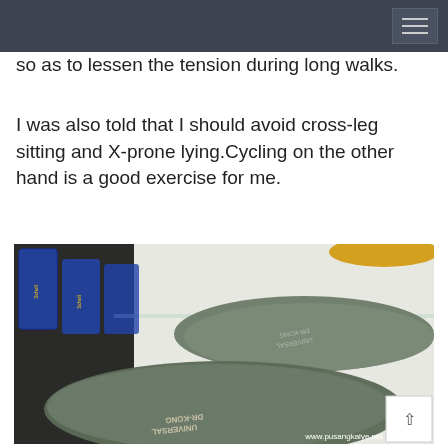so as to lessen the tension during long walks.
I was also told that I should avoid cross-leg sitting and X-prone lying.Cycling on the other hand is a good exercise for me.
[Figure (photo): Photograph of DR-KONG UNIVERSAL shoe insoles displayed on a glass shelf, with blue packaged products visible in the background. The insoles are olive/green-grey in color. Watermark reads www.pusangkalye.net]
www.pusangkalye.net